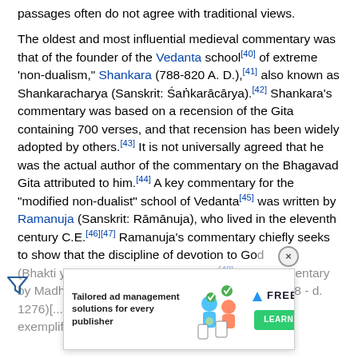passages often do not agree with traditional views.
The oldest and most influential medieval commentary was that of the founder of the Vedanta school[40] of extreme 'non-dualism," Shankara (788-820 A. D.),[41] also known as Shankaracharya (Sanskrit: Śaṅkarācārya).[42] Shankara's commentary was based on a recension of the Gita containing 700 verses, and that recension has been widely adopted by others.[43] It is not universally agreed that he was the actual author of the commentary on the Bhagavad Gita attributed to him.[44] A key commentary for the "modified non-dualist" school of Vedanta[45] was written by Ramanuja (Sanskrit: Rāmānuja), who lived in the eleventh century C.E.[46][47] Ramanuja's commentary chiefly seeks to show that the discipline of devotion to God (Bhakti yoga) is the way of salvation.[48] The commentary by Madhvacharya (Sanskrit: Madhvācārya) (c. 1238 - d. 1276)[...] Madhvacharya (Sanskrit: Madhvācārya), exemplifies
[Figure (other): Advertisement banner: Tailored ad management solutions for every publisher — Freesta. Features illustrated characters and a green Learn More button.]